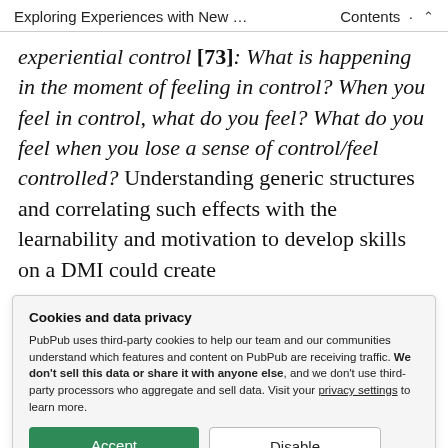Exploring Experiences with New … · Contents ⌃
experiential control [73]: What is happening in the moment of feeling in control? When you feel in control, what do you feel? What do you feel when you lose a sense of control/feel controlled? Understanding generic structures and correlating such effects with the learnability and motivation to develop skills on a DMI could create
Cookies and data privacy
PubPub uses third-party cookies to help our team and our communities understand which features and content on PubPub are receiving traffic. We don't sell this data or share it with anyone else, and we don't use third-party processors who aggregate and sell data. Visit your privacy settings to learn more.
We present a case study of five interviews